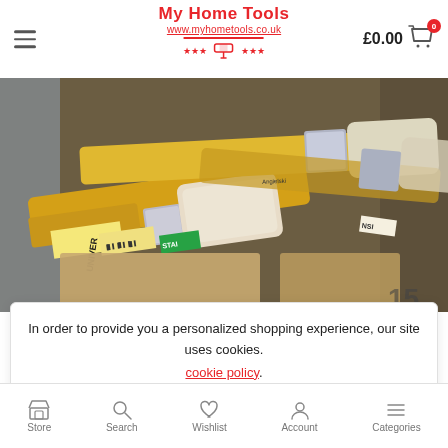My Home Tools | www.myhometools.co.uk | £0.00 | Cart 0
[Figure (photo): Close-up photo of multiple paint brushes with yellow handles, chrome ferrules, and bristles, showing brand labels including UNIVER and STAI (Angielski), stacked in a box]
In order to provide you a personalized shopping experience, our site uses cookies.
cookie policy.
Accept Cookies
Store | Search | Wishlist | Account | Categories